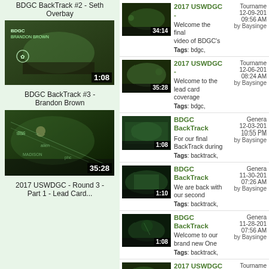BDGC BackTrack #2 - Seth Overbay
[Figure (screenshot): Video thumbnail for BDGC BackTrack #3 - Brandon Brown, duration 1:08]
BDGC BackTrack #3 - Brandon Brown
[Figure (screenshot): Video thumbnail for 2017 USWDGC - Round 3 - Part 1 - Lead Card..., duration 35:28]
2017 USWDGC - Round 3 - Part 1 - Lead Card...
[Figure (screenshot): 2017 USWDGC video thumbnail, duration 34:14]
2017 USWDGC - Welcome the final video of BDGC's Tags: bdgc, Tournament 12-09-2017 09:56 AM by Baysinge
[Figure (screenshot): 2017 USWDGC video thumbnail, duration 35:28]
2017 USWDGC - Welcome to the lead card coverage Tags: bdgc, Tournament 12-06-2017 08:24 AM by Baysinge
[Figure (screenshot): BDGC BackTrack video thumbnail, duration 1:08]
BDGC BackTrack For our final BackTrack during Tags: backtrack, General 12-03-2017 10:55 PM by Baysinge
[Figure (screenshot): BDGC BackTrack video thumbnail, duration 1:10]
BDGC BackTrack We are back with our second Tags: backtrack, General 11-30-2017 07:26 AM by Baysinge
[Figure (screenshot): BDGC BackTrack video thumbnail, duration 1:08]
BDGC BackTrack Welcome to our brand new One Tags: backtrack, General 11-28-2017 07:56 AM by Baysinge
[Figure (screenshot): 2017 USWDGC video thumbnail, duration 43:08]
2017 USWDGC - Welcome to the back nine of the Tags: bdgc, Tournament 11-20-2017 09:08 AM by Baysinge
[Figure (screenshot): 2017 USWDGC video thumbnail]
2017 USWDGC - Welcome back to General 11-11-2017